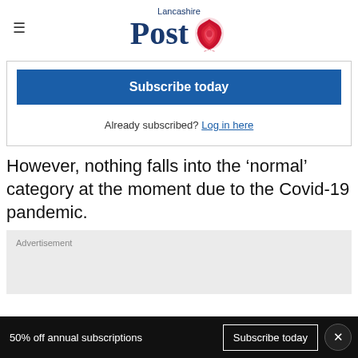Lancashire Post
Subscribe today
Already subscribed? Log in here
However, nothing falls into the ‘normal’ category at the moment due to the Covid-19 pandemic.
Advertisement
50% off annual subscriptions  Subscribe today  ×